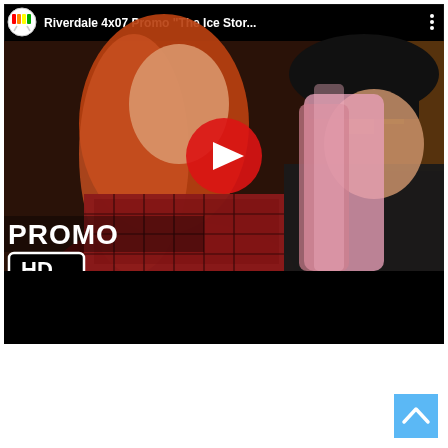[Figure (screenshot): YouTube video thumbnail/player showing Riverdale 4x07 Promo 'The Ice Stor...' with two female characters — one with red hair wearing a red plaid jacket, one with pink hair wearing a black hat. A red YouTube play button is centered on the image. 'PROMO' text and an 'HD' badge are overlaid on the lower left. The top bar shows a TV logo, the video title, and a three-dot menu icon.]
[Figure (screenshot): Light blue scroll-to-top button with a white upward chevron arrow, positioned in the bottom right corner of the page.]